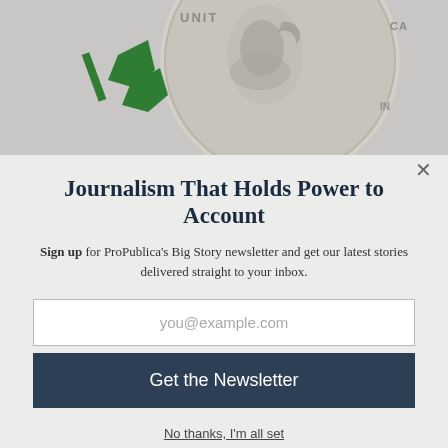[Figure (photo): Top portion of a webpage screenshot showing a ProPublica logo (green geometric shape) and a close-up of a coin (dime or similar US coin showing a portrait profile and partial text 'UNIT' and 'IN' visible) on a gray background. A close/X button appears in the upper right.]
Journalism That Holds Power to Account
Sign up for ProPublica's Big Story newsletter and get our latest stories delivered straight to your inbox.
you@example.com
Get the Newsletter
No thanks, I'm all set
This site is protected by reCAPTCHA and the Google Privacy Policy and Terms of Service apply.